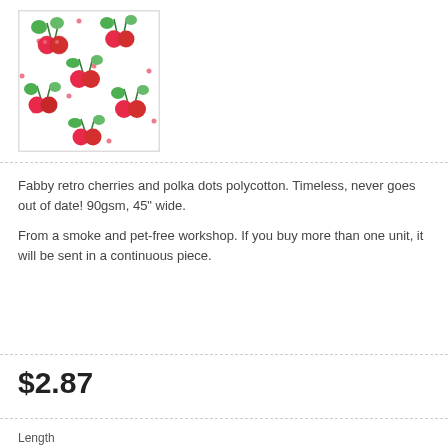[Figure (photo): Cherry and polka dot fabric pattern — white background with red cherries and green leaves]
Fabby retro cherries and polka dots polycotton.  Timeless, never goes out of date!  90gsm, 45" wide.
From a smoke and pet-free workshop. If you buy more than one unit, it will be sent in a continuous piece.
$2.87
Length
Please select...
QTY   1